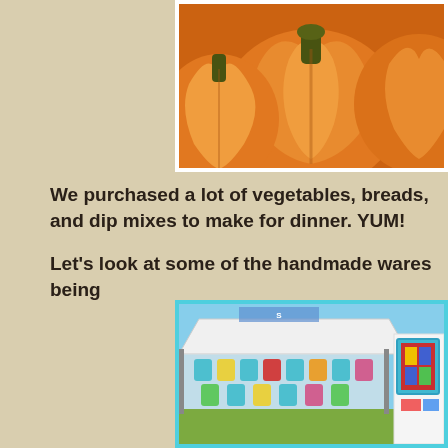[Figure (photo): Close-up photograph of orange pumpkins with dark green stems]
We purchased a lot of vegetables, breads, and dip mixes to make for dinner. YUM!
Let's look at some of the handmade wares being
[Figure (photo): Outdoor market booth with a white canopy tent displaying colorful handmade bags and quilts]